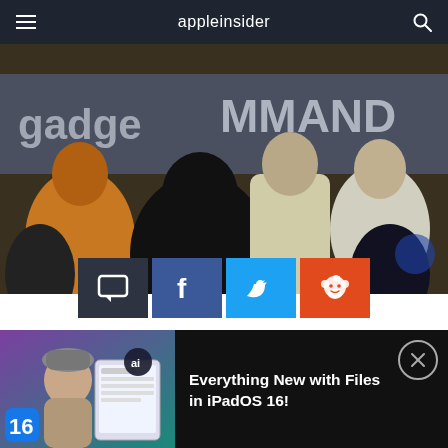appleinsider
[Figure (photo): Panel discussion photo with silhouetted audience, speakers on stage, backdrop reading 'gadget' and 'COMMAND']
[Figure (infographic): Social sharing buttons row: comment (dark), Facebook (blue), Twitter (light blue), Reddit (orange)]
AppleInsider is supported by its audience and may earn commission as an Amazon Associate and affiliate partner on qualifying purchases. These affiliate partnerships do not influence our editorial content
[Figure (screenshot): Video thumbnail showing man holding iPad with iPadOS 16 Files app, AI logo overlay, iOS 16 icon]
Everything New with Files in iPadOS 16!